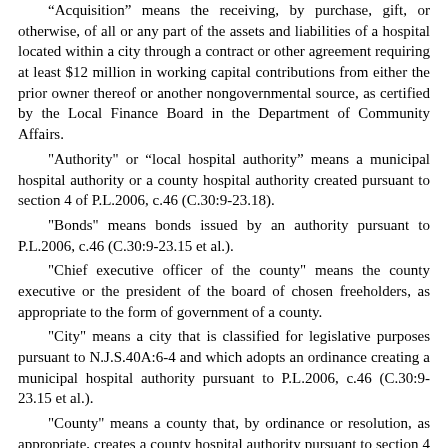“Acquisition” means the receiving, by purchase, gift, or otherwise, of all or any part of the assets and liabilities of a hospital located within a city through a contract or other agreement requiring at least $12 million in working capital contributions from either the prior owner thereof or another nongovernmental source, as certified by the Local Finance Board in the Department of Community Affairs.
"Authority" or “local hospital authority” means a municipal hospital authority or a county hospital authority created pursuant to section 4 of P.L.2006, c.46 (C.30:9-23.18).
"Bonds" means bonds issued by an authority pursuant to P.L.2006, c.46 (C.30:9-23.15 et al.).
"Chief executive officer of the county" means the county executive or the president of the board of chosen freeholders, as appropriate to the form of government of a county.
"City" means a city that is classified for legislative purposes pursuant to N.J.S.40A:6-4 and which adopts an ordinance creating a municipal hospital authority pursuant to P.L.2006, c.46 (C.30:9-23.15 et al.).
"County" means a county that, by ordinance or resolution, as appropriate, creates a county hospital authority pursuant to section 4 of P.L.2006, c.46 (C.30:9-23.18).
"County hospital" means a hospital that is owned , operated,